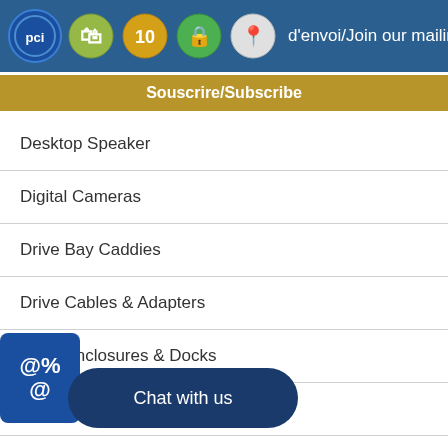d'envoi/Join our mailing list
Souscrire/Subscribe
Desktop Speaker
Digital Cameras
Drive Bay Caddies
Drive Cables & Adapters
Drive Enclosures & Docks
Earbuds
Ethernet Cables (RJ-45, 8P8C)
External Hard Disk Drives
Fans & Coolers
Flashlights
FM...
Game...Adapter
Garden Hoses